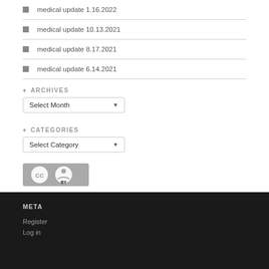medical update 1.16.2022
medical update 10.13.2021
medical update 8.17.2021
medical update 6.14.2021
ARCHIVES
[Figure (other): Select Month dropdown widget]
CATEGORIES
[Figure (other): Select Category dropdown widget]
[Figure (other): Creative Commons BY license badge]
This work by Anna J. Clutterbuck-Cook is licensed under a Creative Commons Attribution 3.0 Unported License
META
Register
Log in